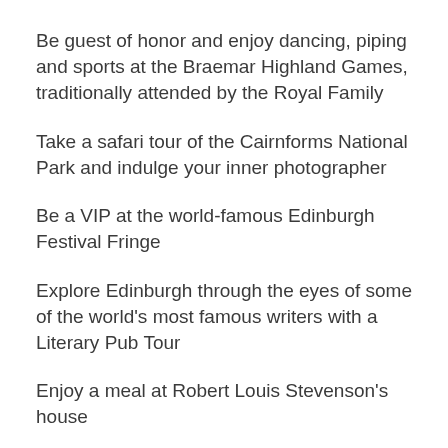Be guest of honor and enjoy dancing, piping and sports at the Braemar Highland Games, traditionally attended by the Royal Family
Take a safari tour of the Cairnforms National Park and indulge your inner photographer
Be a VIP at the world-famous Edinburgh Festival Fringe
Explore Edinburgh through the eyes of some of the world's most famous writers with a Literary Pub Tour
Enjoy a meal at Robert Louis Stevenson's house